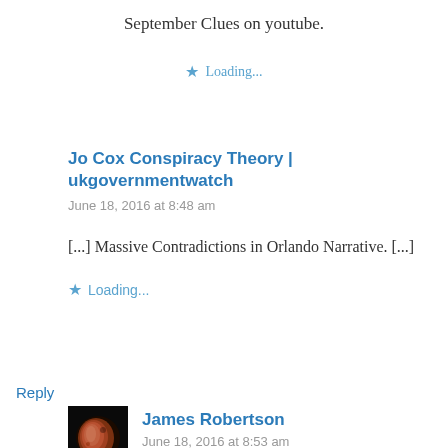September Clues on youtube.
★ Loading...
Jo Cox Conspiracy Theory | ukgovernmentwatch
June 18, 2016 at 8:48 am
[...] Massive Contradictions in Orlando Narrative. [...]
★ Loading...
Reply
[Figure (photo): Small avatar image showing a blood moon / lunar eclipse against black background]
James Robertson
June 18, 2016 at 8:53 am